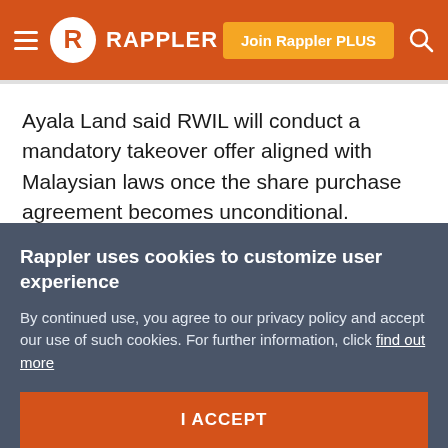RAPPLER | Join Rappler PLUS
Ayala Land said RWIL will conduct a mandatory takeover offer aligned with Malaysian laws once the share purchase agreement becomes unconditional.
"This increase in ownership will strengthen ALI's commitment to enhance MCT's operations and expand its business further," the listed property giant said in its disclosure.
Rappler uses cookies to customize user experience
By continued use, you agree to our privacy policy and accept our use of such cookies. For further information, click find out more
I ACCEPT